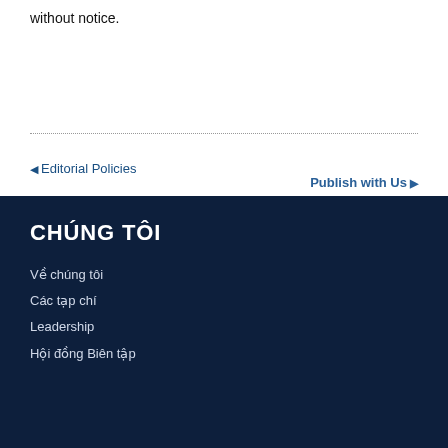without notice.
◀ Editorial Policies
Publish with Us ▶
CHÚNG TÔI
Về chúng tôi
Các tạp chí
Leadership
Hội đồng Biên tập